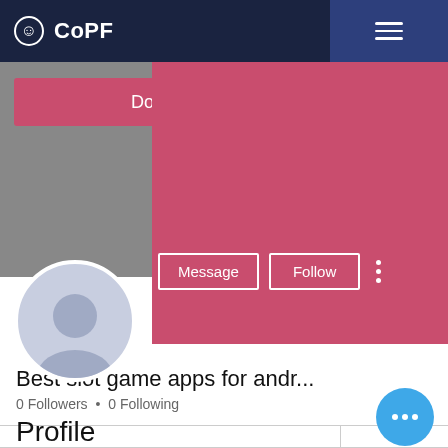CoPF
Donate
[Figure (illustration): User profile avatar silhouette circle]
Message
Follow
Best slot game apps for andr...
0 Followers • 0 Following
Profile